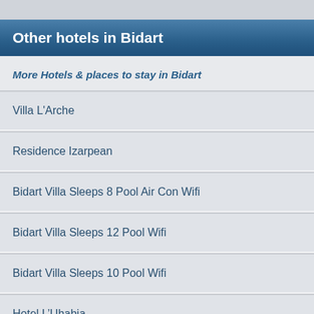Other hotels in Bidart
More Hotels & places to stay in Bidart
Villa L'Arche
Residence Izarpean
Bidart Villa Sleeps 8 Pool Air Con Wifi
Bidart Villa Sleeps 12 Pool Wifi
Bidart Villa Sleeps 10 Pool Wifi
Hotel L’Uhabia
Camping Sunissim Erreka By Locatour